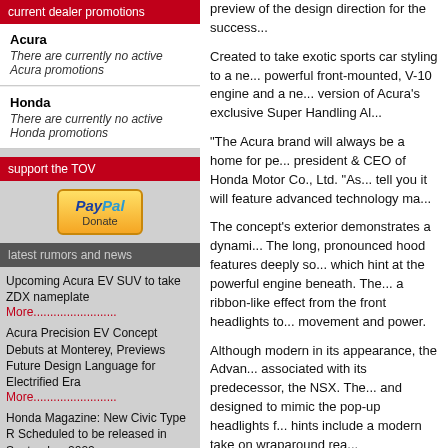current dealer promotions
Acura
There are currently no active Acura promotions
Honda
There are currently no active Honda promotions
support the TOV
[Figure (logo): PayPal Donate button]
latest rumors and news
Upcoming Acura EV SUV to take ZDX nameplate
More........................
Acura Precision EV Concept Debuts at Monterey, Previews Future Design Language for Electrified Era
More........................
Honda Magazine: New Civic Type R Scheduled to be released in September 2022
More........................
Acura to debut their Precision EV Concept at Monterey Car Week
More........................
Honda "teases" the new 2023
preview of the design direction for the success...
Created to take exotic sports car styling to a ne... powerful front-mounted, V-10 engine and a ne... version of Acura's exclusive Super Handling Al...
"The Acura brand will always be a home for pe... president & CEO of Honda Motor Co., Ltd. "As... tell you it will feature advanced technology ma...
The concept's exterior demonstrates a dynami... The long, pronounced hood features deeply so... which hint at the powerful engine beneath. The... a ribbon-like effect from the front headlights to... movement and power.
Although modern in its appearance, the Advan... associated with its predecessor, the NSX. The... and designed to mimic the pop-up headlights f... hints include a modern take on wraparound rea...
"Our intention was to design an exotic sports c... and strong emotion," said Jon Ikeda, principal... machined surfaces and keen-edge design are... lines, all of which results in the ultimate exotic...
Wide and low to the ground with a 108.8 inch w... inch front and 20 inch rear performance tires w... polished aluminum wheels. Powerful, ventilate... calipers accent the wheels. Bold wheel arches... appearance.